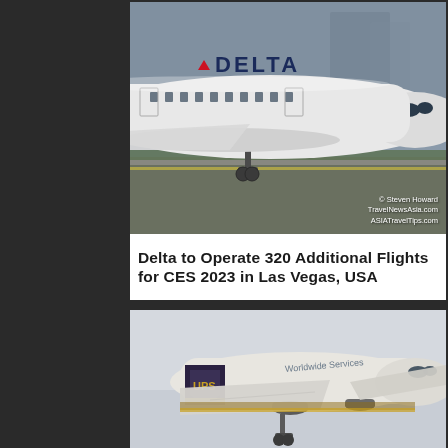[Figure (photo): Delta Air Lines Airbus A330 aircraft taxiing on runway, with Delta logo and red triangle visible on fuselage. Photo credit: © Steven Howard TravelNewsAsia.com ASIATravelTips.com]
Delta to Operate 320 Additional Flights for CES 2023 in Las Vegas, USA
[Figure (photo): UPS Worldwide Services cargo aircraft (Boeing MD-11F or similar) taking off or landing, with UPS logo visible on tail. White and brown livery with yellow stripe.]